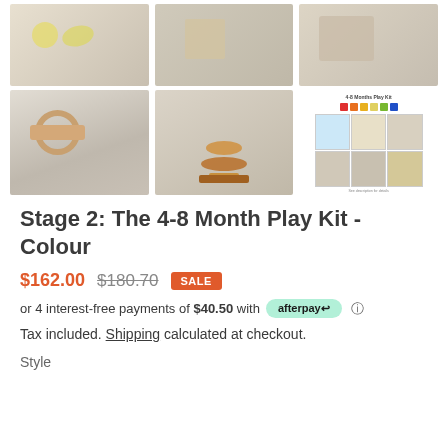[Figure (photo): Top row of product images: three wooden toy photos - left shows yellow/lemon toys, center shows wooden cube toy, right shows wooden toy]
[Figure (photo): Bottom row of product images: left shows wooden roller rattle toy, center shows wooden stacking rings toy, right shows product info sheet with color swatches and toy grid]
Stage 2: The 4-8 Month Play Kit - Colour
$162.00  $180.70  SALE
or 4 interest-free payments of $40.50 with afterpay ℹ
Tax included. Shipping calculated at checkout.
Style